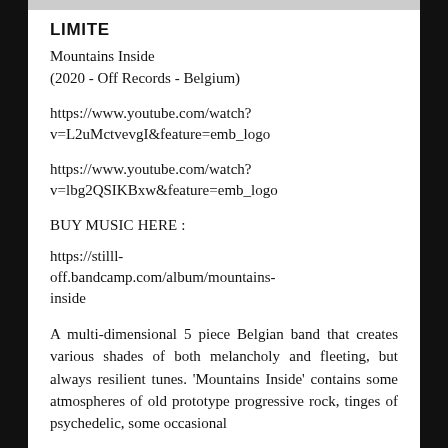LIMITE
Mountains Inside
(2020 - Off Records - Belgium)
https://www.youtube.com/watch?v=L2uMctvevgI&feature=emb_logo
https://www.youtube.com/watch?v=lbg2QSIKBxw&feature=emb_logo
BUY MUSIC HERE :
https://stilll-off.bandcamp.com/album/mountains-inside
A multi-dimensional 5 piece Belgian band that creates various shades of both melancholy and fleeting, but always resilient tunes. 'Mountains Inside' contains some atmospheres of old prototype progressive rock, tinges of psychedelic, some occasional